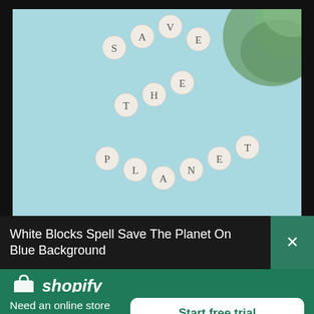[Figure (photo): Photo of letter tiles spelling 'SAVE THE PLANET' arranged in an arrow/chevron pattern on a light blue background, with a blurred green plant in the top right corner.]
White Blocks Spell Save The Planet On Blue Background
[Figure (logo): Shopify logo — shopping bag icon with 'shopify' wordmark in white italic text]
Need an online store for your business?
Start free trial